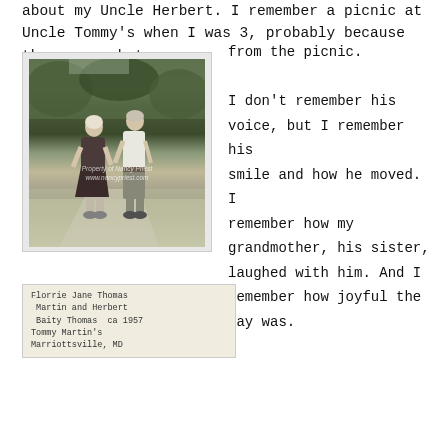about my Uncle Herbert. I remember a picnic at Uncle Tommy's when I was 3, probably because there are photos from the picnic.
[Figure (photo): Black and white photograph of two elderly people (a woman and a man) standing outdoors on a lawn with trees in the background. Watermark reads 'Property of Nancy Priest www.nancypriest.com']
Florrie Jane Thomas Martin and Herbert Baity Thomas  ca 1957 Tommy Martin's Marriottsville, MD
I don't remember his voice, but I remember his smile and how he moved. I remember how my grandmother, his sister, laughed with him. And I remember how joyful the day was.